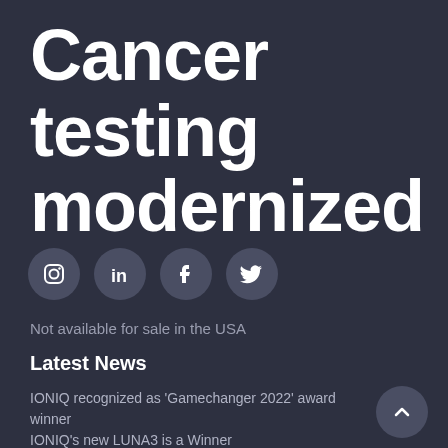Cancer testing modernized
[Figure (illustration): Four social media icon circles: Instagram, LinkedIn, Facebook, Twitter on dark background]
Not available for sale in the USA
Latest News
IONIQ recognized as 'Gamechanger 2022' award winner
IONIQ's new LUNA3 is a Winner